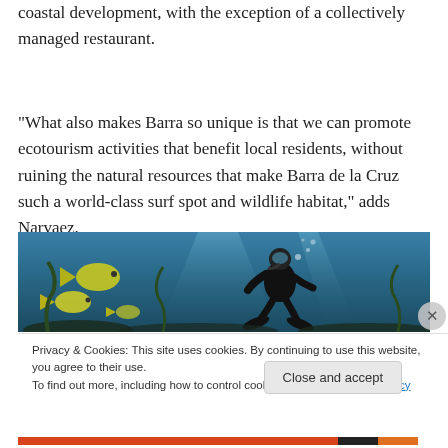coastal development, with the exception of a collectively managed restaurant.
“What also makes Barra so unique is that we can promote ecotourism activities that benefit local residents, without ruining the natural resources that make Barra de la Cruz such a world-class surf spot and wildlife habitat,” adds Narvaez.
[Figure (photo): Underwater photograph of a scuba diver in black wetsuit and gear swimming near yellow tropical fish in blue-green water]
Privacy & Cookies: This site uses cookies. By continuing to use this website, you agree to their use.
To find out more, including how to control cookies, see here: Cookie Policy
Close and accept